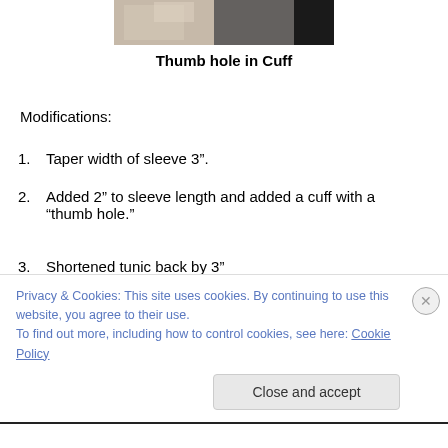[Figure (photo): Partial photo of a garment/fabric, cropped at top of page]
Thumb hole in Cuff
Modifications:
Taper width of sleeve 3".
Added 2” to sleeve length and added a cuff with a “thumb hole.”
Shortened tunic back by 3”
Interfaced collar with 2 layers of light interfacing, and a strip of heavy interfacing in the center back.
Privacy & Cookies: This site uses cookies. By continuing to use this website, you agree to their use.
To find out more, including how to control cookies, see here: Cookie Policy